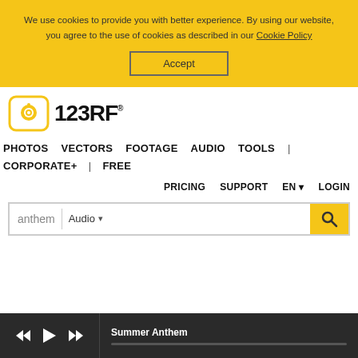We use cookies to provide you with better experience. By using our website, you agree to the use of cookies as described in our Cookie Policy
Accept
[Figure (logo): 123RF logo with camera icon]
PHOTOS   VECTORS   FOOTAGE   AUDIO   TOOLS   |   CORPORATE+   |   FREE
PRICING   SUPPORT   EN   LOGIN
anthem   Audio
Summer Anthem